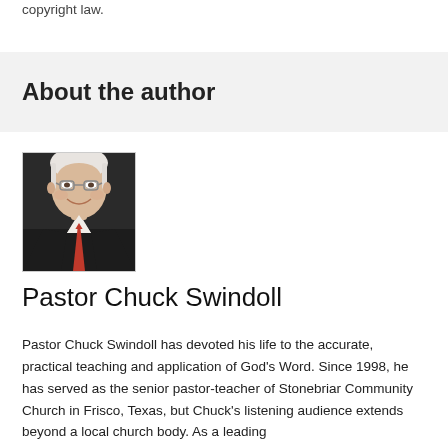copyright law.
About the author
[Figure (photo): Portrait photo of Pastor Chuck Swindoll, an elderly man with white hair, glasses, wearing a dark suit and red tie, smiling.]
Pastor Chuck Swindoll
Pastor Chuck Swindoll has devoted his life to the accurate, practical teaching and application of God’s Word. Since 1998, he has served as the senior pastor-teacher of Stonebriar Community Church in Frisco, Texas, but Chuck’s listening audience extends beyond a local church body. As a leading